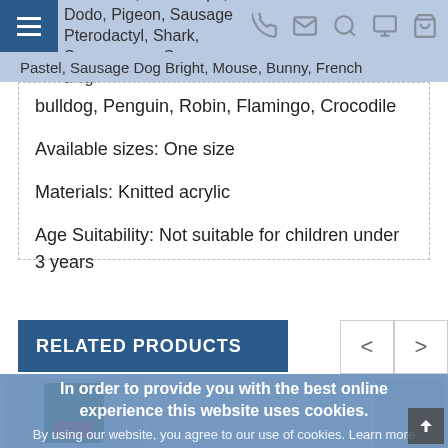Rex, Diplodocus, Mammoth, Triceratops, Dodo, Pigeon, Sausage Dog Pastel, Sausage Dog Bright, Mouse, Bunny, French bulldog, Penguin, Robin, Flamingo, Crocodile
bulldog, Penguin, Robin, Flamingo, Crocodile

Available sizes:  One size

Materials:  Knitted acrylic

Age Suitability:  Not suitable for children under 3 years
RELATED PRODUCTS
In order to provide you with the best online experience this website uses cookies.
By using our website, you agree to our use of cookies. Learn more